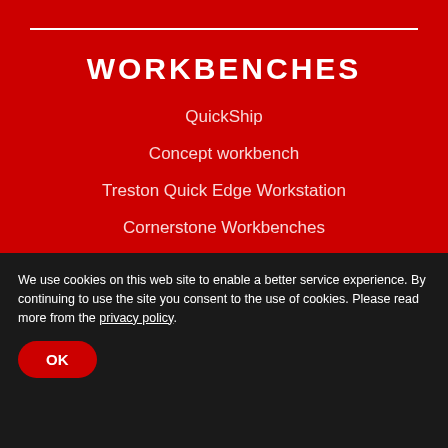WORKBENCHES
QuickShip
Concept workbench
Treston Quick Edge Workstation
Cornerstone Workbenches
TED Electric Desk
TPB Packing Bench
TP: ideal basic workbench
USU: Utility Support Uprights
Basic upright frame
Accessories for workbenches
3D Configurator
We use cookies on this web site to enable a better service experience. By continuing to use the site you consent to the use of cookies. Please read more from the privacy policy.